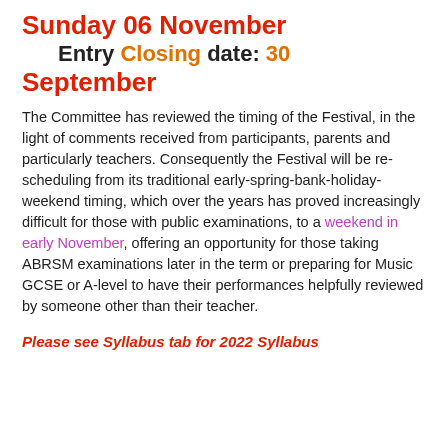Sunday 06 November Entry Closing date: 30 September
The Committee has reviewed the timing of the Festival, in the light of comments received from participants, parents and particularly teachers. Consequently the Festival will be re-scheduling from its traditional early-spring-bank-holiday-weekend timing, which over the years has proved increasingly difficult for those with public examinations, to a weekend in early November, offering an opportunity for those taking ABRSM examinations later in the term or preparing for Music GCSE or A-level to have their performances helpfully reviewed by someone other than their teacher.
Please see Syllabus tab for 2022 Syllabus